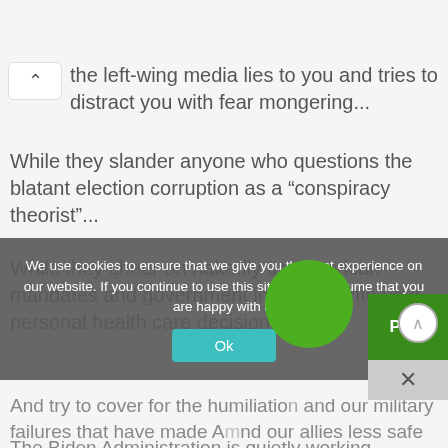the left-wing media lies to you and tries to distract you with fear mongering...
While they slander anyone who questions the blatant election corruption as a “conspiracy theorist”...
While they cheer on nakedly un-American mandates and government intrusions into your personal health care decisions...
And try to cover for the humiliation and military failures that have made America and our allies less safe than we’ve been since 9/11...
The Biden Administration is quietly working overtime...
We use cookies to ensure that we give you the best experience on our website. If you continue to use this site we will assume that you are happy with it.
Ok